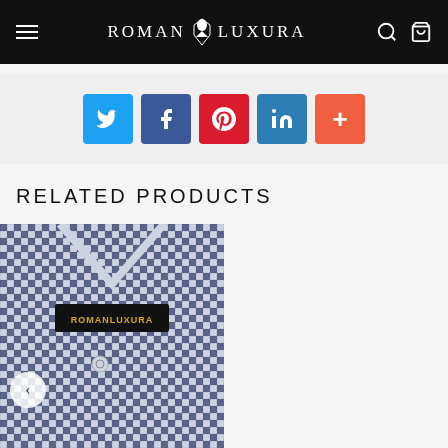ROMAN LUXURA
[Figure (infographic): Social share buttons: Twitter, Facebook, Pinterest, LinkedIn, More (+)]
RELATED PRODUCTS
[Figure (photo): Close-up of a navy and white gingham check shirt with Roman Luxura label]
[Figure (photo): Close-up of a blue chambray/textured shirt with Roman Luxura label, size tag 40, with Chat with us overlay and WhatsApp button]